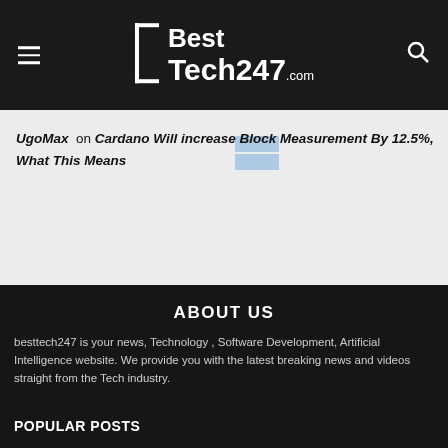BestTech247.com
UgoMax on Cardano Will increase Block Measurement By 12.5%, What This Means
ABOUT US
besttech247 is your news, Technology , Software Development, Artificial Intelligence website. We provide you with the latest breaking news and videos straight from the Tech industry.
POPULAR POSTS
Click on & Gather Expertise Is Reshaping the Ecommerce Business. Here is How.